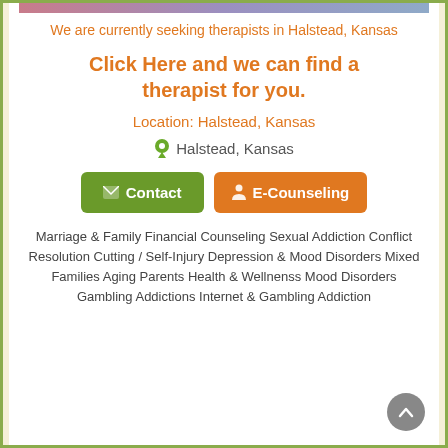We are currently seeking therapists in Halstead, Kansas
Click Here and we can find a therapist for you.
Location: Halstead, Kansas
Halstead, Kansas
[Figure (infographic): Two buttons: a green Contact button with envelope icon and an orange E-Counseling button with person icon]
Marriage & Family Financial Counseling Sexual Addiction Conflict Resolution Cutting / Self-Injury Depression & Mood Disorders Mixed Families Aging Parents Health & Wellnenss Mood Disorders Gambling Addictions Internet & Gambling Addiction